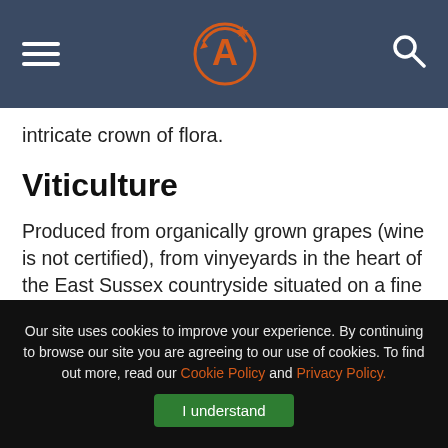[Navigation header with hamburger menu, logo (stylized A with star), and search icon]
intricate crown of flora.
Viticulture
Produced from organically grown grapes (wine is not certified), from vinyeyards in the heart of the East Sussex countryside situated on a fine sand and silt loam – above clay bedrock. Adjacent to an oak forest providing natural wind protection and helping to create near perfect conditions for growing high-quality grapes.
Our site uses cookies to improve your experience. By continuing to browse our site you are agreeing to our use of cookies. To find out more, read our Cookie Policy and Privacy Policy.
I understand